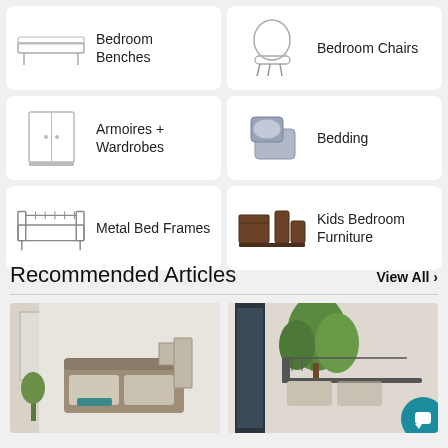[Figure (screenshot): Category card: Bedroom Benches with bench icon]
[Figure (screenshot): Category card: Bedroom Chairs with chair icon]
[Figure (screenshot): Category card: Armoires + Wardrobes with wardrobe icon]
[Figure (screenshot): Category card: Bedding with pillow/comforter icon]
[Figure (screenshot): Category card: Metal Bed Frames with metal bed frame icon]
[Figure (screenshot): Category card: Kids Bedroom Furniture with kids furniture icon]
Recommended Articles
View All ›
[Figure (photo): Bedroom interior photo showing upholstered bed with plants]
[Figure (photo): Bedroom interior photo showing metal bed frame with large plant]